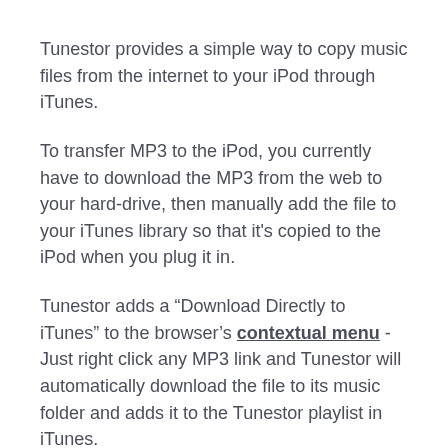Tunestor provides a simple way to copy music files from the internet to your iPod through iTunes.
To transfer MP3 to the iPod, you currently have to download the MP3 from the web to your hard-drive, then manually add the file to your iTunes library so that it's copied to the iPod when you plug it in.
Tunestor adds a “Download Directly to iTunes” to the browser’s contextual menu - Just right click any MP3 link and Tunestor will automatically download the file to its music folder and adds it to the Tunestor playlist in iTunes.
When you connect your iPod to your computer, all the music downloaded in this playlist will